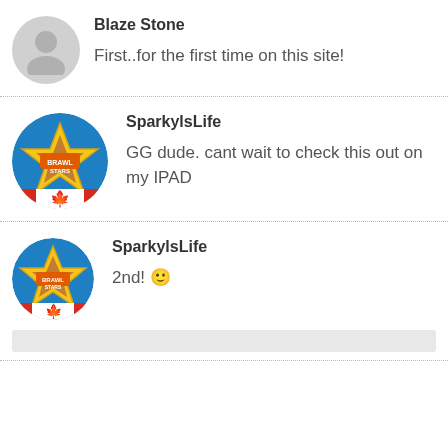Blaze Stone
First..for the first time on this site!
SparkylsLife
GG dude. cant wait to check this out on my IPAD
SparkylsLife
2nd! 🙂